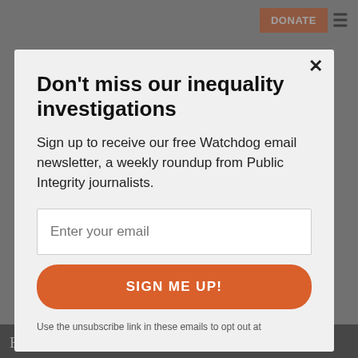[Figure (screenshot): Website navigation bar with orange DONATE button and hamburger menu icon on grey background]
Don't miss our inequality investigations
Sign up to receive our free Watchdog email newsletter, a weekly roundup from Public Integrity journalists.
Enter your email
SIGN ME UP!
Use the unsubscribe link in these emails to opt out at
Baptist Convention, "Sam Brownback has been